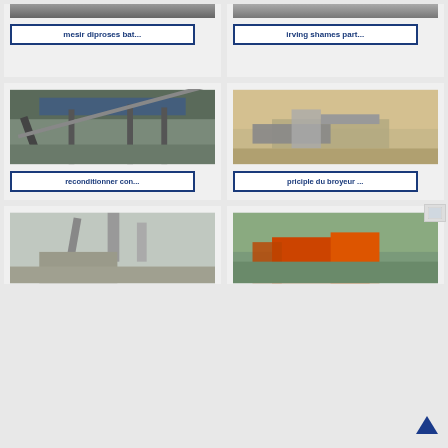[Figure (photo): Partial top image left - industrial vehicle/machinery, cropped at top]
[Figure (photo): Partial top image right - industrial/mining scene, cropped at top]
mesir diproses bat...
irving shames part...
[Figure (photo): Industrial conveyor belt structure with blue roof/canopy]
[Figure (photo): Mobile crusher/jaw crusher machine in quarry with rock face]
reconditionner con...
priciple du broyeur ...
[Figure (photo): Industrial site with scaffolding and cooling towers in background]
[Figure (photo): Orange excavator/mobile crusher machine at quarry site]